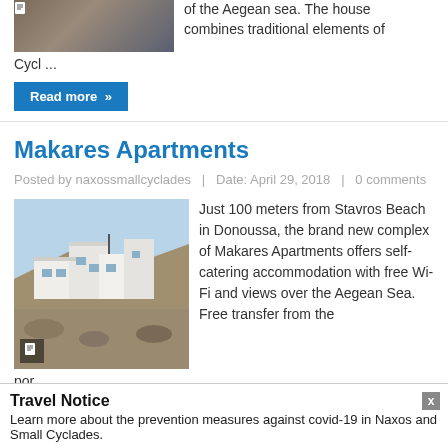[Figure (photo): Thumbnail image of a wooden/steel structure (partial view at top of page)]
of the Aegean sea. The house combines traditional elements of Cycl ...
Read more »
Makares Apartments
Posted by naxossmallcyclades  |  Date: April 29, 2018  |  0 comments
[Figure (photo): Photo of white cubic building complex (Makares Apartments) on hillside in Donoussa, Greece]
Just 100 meters from Stavros Beach in Donoussa, the brand new complex of Makares Apartments offers self-catering accommodation with free Wi-Fi and views over the Aegean Sea. Free transfer from the por ...
Read more »
Travel Notice
Learn more about the prevention measures against covid-19 in Naxos and Small Cyclades.